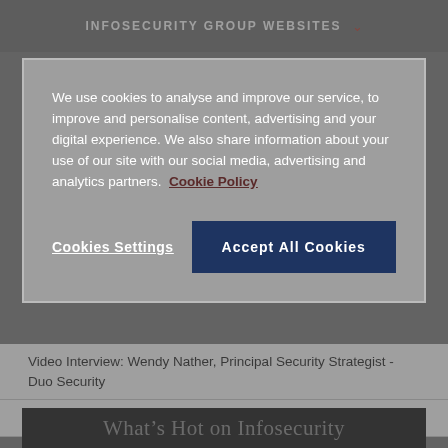INFOSECURITY GROUP WEBSITES
We use cookies to analyse and improve our service, to improve and personalise content, advertising and your digital experience. We also share information about your use of our site with our social media, advertising and analytics partners. Cookie Policy
Cookies Settings
Accept All Cookies
Video Interview: Wendy Nather, Principal Security Strategist - Duo Security
Top Ten: Security Predictions for 2021
What's Hot on Infosecurity